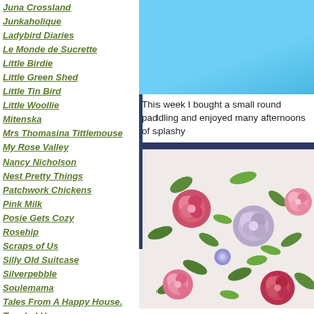Juna Crossland
Junkaholique
Ladybird Diaries
Le Monde de Sucrette
Little Birdie
Little Green Shed
Little Tin Bird
Little Woollie
Mitenska
Mrs Thomasina Tittlemouse
My Rose Valley
Nancy Nicholson
Nest Pretty Things
Patchwork Chickens
Pink Milk
Posie Gets Cozy
Rosehip
Scraps of Us
Silly Old Suitcase
Silverpebble
Soulemama
Tales From A Happy House.
Tangled Happy
Teawagon Tales
Teresa Kasner
Vintage Sheet Addict
Winwick Mum
[Figure (photo): Blue paddling pool water, top portion]
This week I bought a small round paddling and enjoyed many afternoons of splashy
[Figure (photo): Close-up of floral fabric with pink and red roses and green leaves on white background, with dark navy edge/border visible at top]